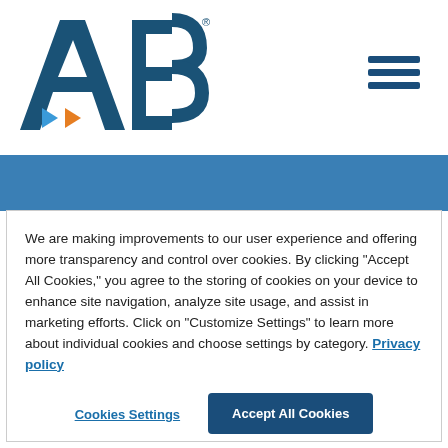[Figure (logo): ABA (American Bar Association) logo with blue letters and orange/blue arrow accents]
[Figure (other): Hamburger menu icon (three horizontal lines) in dark blue, top right corner]
→
We are making improvements to our user experience and offering more transparency and control over cookies. By clicking "Accept All Cookies," you agree to the storing of cookies on your device to enhance site navigation, analyze site usage, and assist in marketing efforts. Click on "Customize Settings" to learn more about individual cookies and choose settings by category. Privacy policy
Cookies Settings
Accept All Cookies